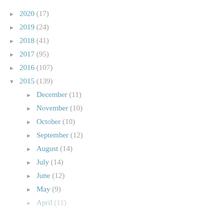► 2020 (17)
► 2019 (24)
► 2018 (41)
► 2017 (95)
► 2016 (107)
▼ 2015 (139)
► December (11)
► November (10)
► October (10)
► September (12)
► August (14)
► July (14)
► June (12)
► May (9)
► April (11)